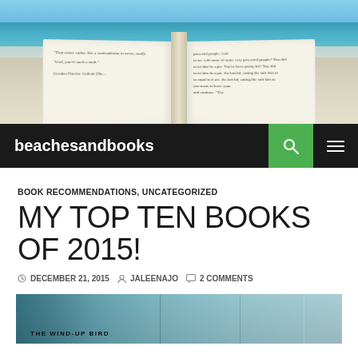[Figure (photo): Open book held up against a beach/ocean background with blue water and sky visible]
beachesandbooks
BOOK RECOMMENDATIONS, UNCATEGORIZED
MY TOP TEN BOOKS OF 2015!
DECEMBER 21, 2015  JALEENAJO  2 COMMENTS
[Figure (photo): Stack of books including 'The Wind-Up Bird' visible at bottom of page]